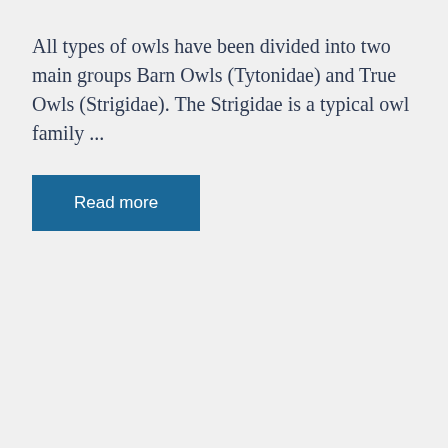All types of owls have been divided into two main groups Barn Owls (Tytonidae) and True Owls (Strigidae). The Strigidae is a typical owl family ...
Read more